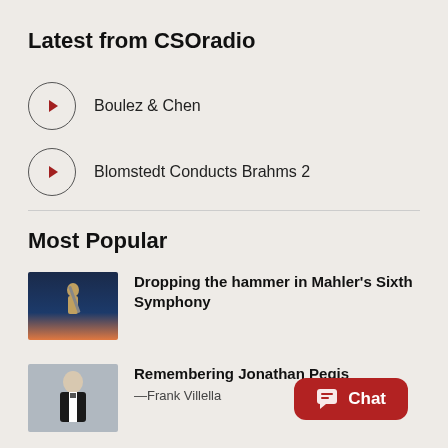Latest from CSOradio
Boulez & Chen
Blomstedt Conducts Brahms 2
Most Popular
Dropping the hammer in Mahler's Sixth Symphony
Remembering Jonathan Pegis —Frank Villella